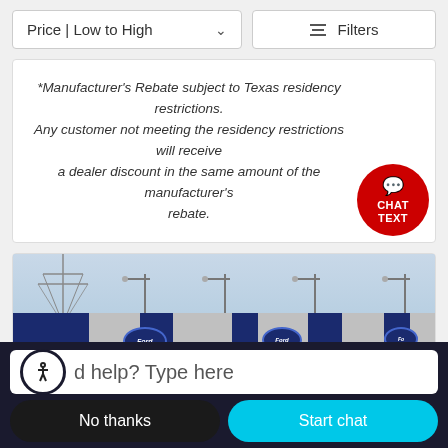Price | Low to High
Filters
*Manufacturer's Rebate subject to Texas residency restrictions. Any customer not meeting the residency restrictions will receive a dealer discount in the same amount of the manufacturer's rebate.
[Figure (photo): Ford dealership exterior building with blue and grey facade, Ford logos visible, street lights, cloudy sky]
d help? Type here
No thanks
Start chat